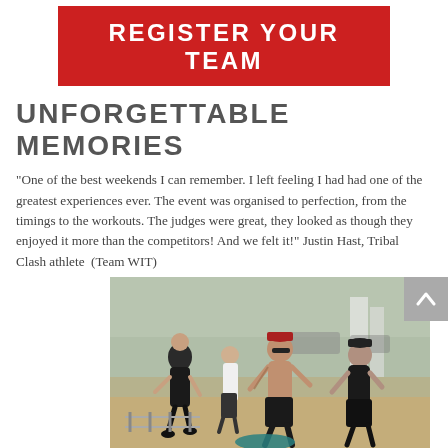REGISTER YOUR TEAM
UNFORGETTABLE MEMORIES
"One of the best weekends I can remember. I left feeling I had had one of the greatest experiences ever. The event was organised to perfection, from the timings to the workouts. The judges were great, they looked as though they enjoyed it more than the competitors! And we felt it!" Justin Hast, Tribal Clash athlete  (Team WIT)
[Figure (photo): Athletes running outdoors at a Tribal Clash competition event on a sandy terrain, carrying equipment, with spectators and banners in the background.]